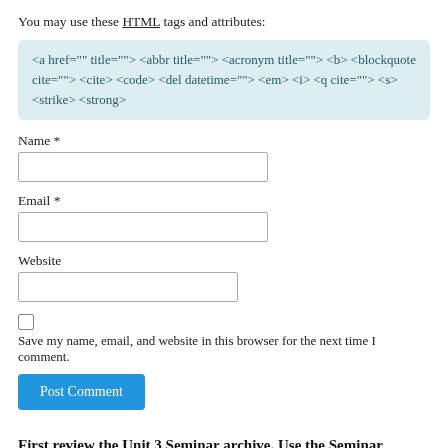You may use these HTML tags and attributes:
<a href="" title=""> <abbr title=""> <acronym title=""> <b> <blockquote cite=""> <cite> <code> <del datetime=""> <em> <i> <q cite=""> <s> <strike> <strong>
Name *
Email *
Website
Save my name, email, and website in this browser for the next time I comment.
Post Comment
First review the Unit 3 Seminar archive. Use the Seminar